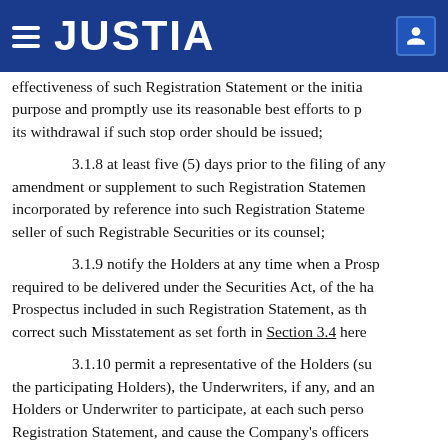JUSTIA
effectiveness of such Registration Statement or the initia- purpose and promptly use its reasonable best efforts to p its withdrawal if such stop order should be issued;
3.1.8 at least five (5) days prior to the filing of any amendment or supplement to such Registration Statemen incorporated by reference into such Registration Stateme seller of such Registrable Securities or its counsel;
3.1.9 notify the Holders at any time when a Prosp required to be delivered under the Securities Act, of the ha Prospectus included in such Registration Statement, as th correct such Misstatement as set forth in Section 3.4 here
3.1.10 permit a representative of the Holders (su the participating Holders), the Underwriters, if any, and an Holders or Underwriter to participate, at each such perso Registration Statement, and cause the Company's officers information reasonably requested by any such representa